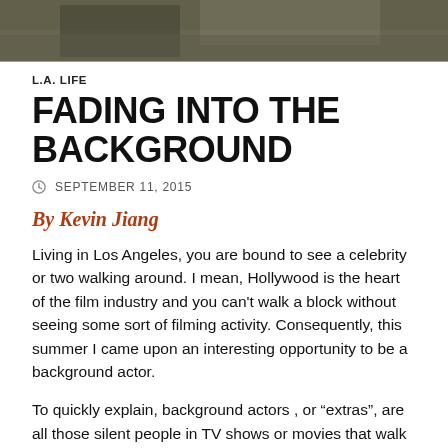[Figure (photo): Dark textured background image at top of page, appears to show a person or figure in muted tones]
L.A. LIFE
FADING INTO THE BACKGROUND
SEPTEMBER 11, 2015
By Kevin Jiang
Living in Los Angeles, you are bound to see a celebrity or two walking around. I mean, Hollywood is the heart of the film industry and you can't walk a block without seeing some sort of filming activity. Consequently, this summer I came upon an interesting opportunity to be a background actor.
To quickly explain, background actors , or “extras”, are all those silent people in TV shows or movies that walk around in the background, cheer in a crowd, fill a party, or sit in a